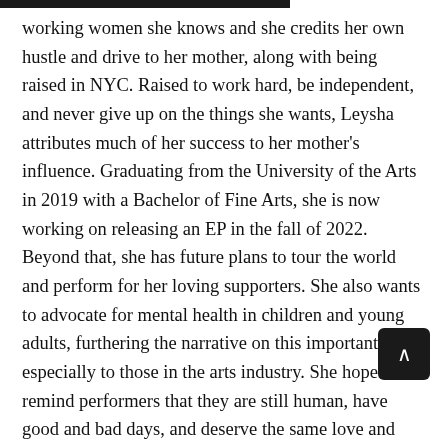working women she knows and she credits her own hustle and drive to her mother, along with being raised in NYC. Raised to work hard, be independent, and never give up on the things she wants, Leysha attributes much of her success to her mother's influence. Graduating from the University of the Arts in 2019 with a Bachelor of Fine Arts, she is now working on releasing an EP in the fall of 2022. Beyond that, she has future plans to tour the world and perform for her loving supporters. She also wants to advocate for mental health in children and young adults, furthering the narrative on this important topic, especially to those in the arts industry. She hopes to remind performers that they are still human, have good and bad days, and deserve the same love and care as anyone. Some days will be difficult, trying to heal from past traumas, overcome personal struggles, and make it in a world that isn't always open and supportive. Coming from a family of immigrants, she understands how hard it is to work for a living when you come from nothing. She wants to